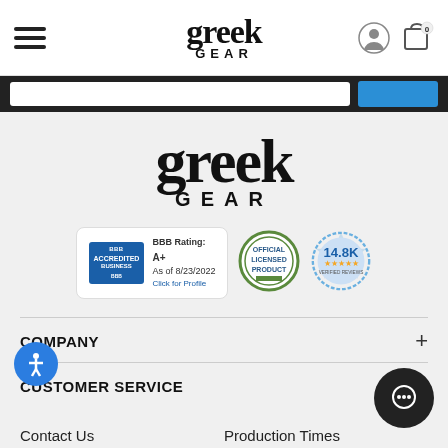greek GEAR
[Figure (logo): Greek Gear large logo centered on page]
[Figure (other): BBB Accredited Business badge - BBB Rating A+ As of 8/23/2022 Click for Profile]
[Figure (other): Official Licensed Product circular badge]
[Figure (other): 14.8K reviews badge with stars]
COMPANY
CUSTOMER SERVICE
Contact Us
Production Times
Shopping Bag
Resources
Track Order
Gift Cards